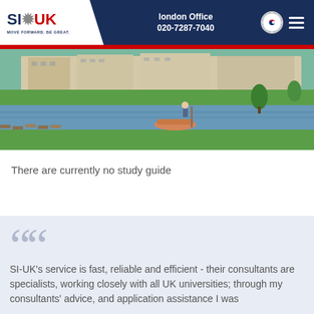london Office 020-7287-7040
[Figure (photo): River Cam in Cambridge with punting boats, green lawns, and historic college buildings in the background]
There are currently no study guide
SI-UK's service is fast, reliable and efficient - their consultants are specialists, working closely with all UK universities; through my consultants' advice, and application assistance I was